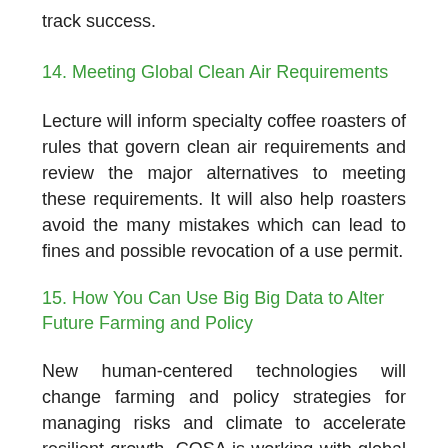track success.
14. Meeting Global Clean Air Requirements
Lecture will inform specialty coffee roasters of rules that govern clean air requirements and review the major alternatives to meeting these requirements. It will also help roasters avoid the many mistakes which can lead to fines and possible revocation of a use permit.
15. How You Can Use Big Big Data to Alter Future Farming and Policy
New human-centered technologies will change farming and policy strategies for managing risks and climate to accelerate resilient growth. COSA is working with global partners to create a novel, web-based decision-support system (DSS) that democratizes access to important global data and integrates it with